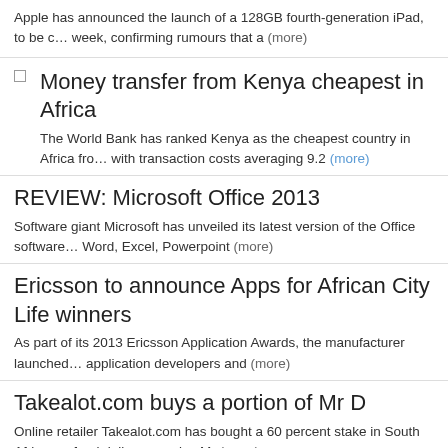Apple has announced the launch of a 128GB fourth-generation iPad, to be c… week, confirming rumours that a (more)
Money transfer from Kenya cheapest in Africa
The World Bank has ranked Kenya as the cheapest country in Africa fro… with transaction costs averaging 9.2 (more)
REVIEW: Microsoft Office 2013
Software giant Microsoft has unveiled its latest version of the Office software… Word, Excel, Powerpoint (more)
Ericsson to announce Apps for African City Life winners
As part of its 2013 Ericsson Application Awards, the manufacturer launched… application developers and (more)
Takealot.com buys a portion of Mr D
Online retailer Takealot.com has bought a 60 percent stake in South African… food delivery service Mr (more)
Nigeria's phone connections increase by one million in
The Nigerian Communications Commission (NCC) has released statistics…